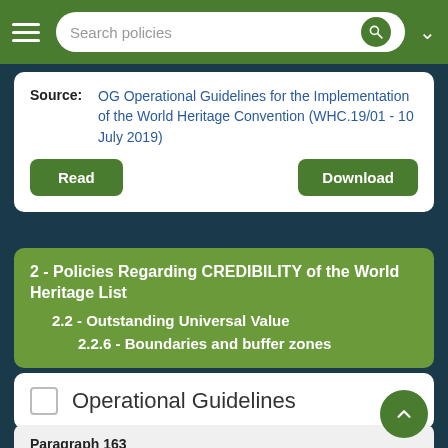Search policies
Source: OG Operational Guidelines for the Implementation of the World Heritage Convention (WHC.19/01 - 10 July 2019)
Read | Download
2 - Policies Regarding CREDIBILITY of the World Heritage List
2.2 - Outstanding Universal Value
2.2.6 - Boundaries and buffer zones
Operational Guidelines
Paragraph 163